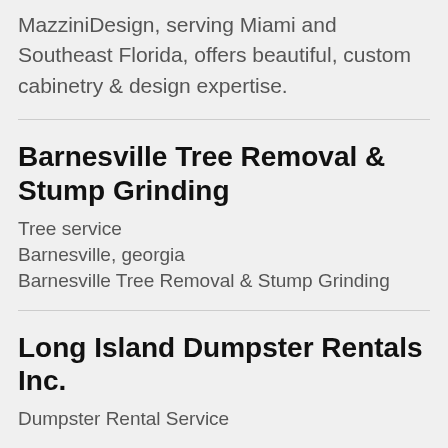MazziniDesign, serving Miami and Southeast Florida, offers beautiful, custom cabinetry & design expertise.
Barnesville Tree Removal & Stump Grinding
Tree service
Barnesville, georgia
Barnesville Tree Removal & Stump Grinding
Long Island Dumpster Rentals Inc.
Dumpster Rental Service